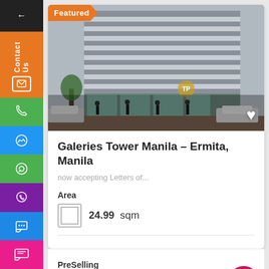[Figure (photo): Exterior photo of Galeries Tower Manila building, a modern high-rise with horizontal banded facade, ground-floor retail with glass windows, people walking on sidewalk, trees, and parked vehicles.]
Galeries Tower Manila – Ermita, Manila
now accepting Letters of...
Area
24.99  sqm
PreSelling
₱2,774,100